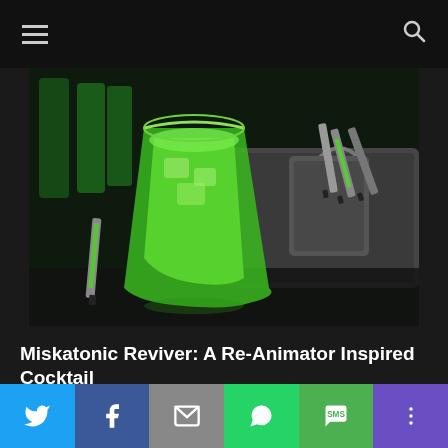Navigation bar with hamburger menu and search icon
[Figure (photo): Green cocktail drink in a glass with ice, surrounded by metal containers and syringes filled with green liquid, on a dark reflective surface]
Miskatonic Reviver: A Re-Animator Inspired Cocktail
July 10, 2018  4 Comments
Our 2nd recipe for Shudder's The Last Drive-In is inspired by one of our all-time favorite horror movies
Share buttons: Twitter, Facebook, Email, WhatsApp, SMS, More